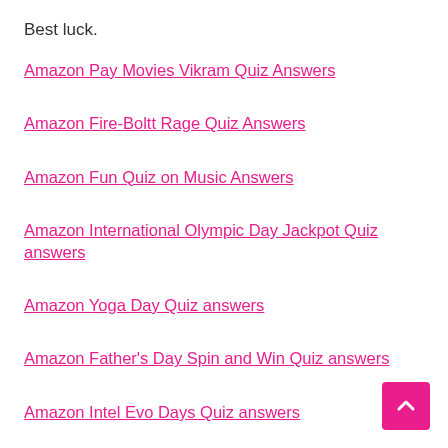Best luck.
Amazon Pay Movies Vikram Quiz Answers
Amazon Fire-Boltt Rage Quiz Answers
Amazon Fun Quiz on Music Answers
Amazon International Olympic Day Jackpot Quiz answers
Amazon Yoga Day Quiz answers
Amazon Father's Day Spin and Win Quiz answers
Amazon Intel Evo Days Quiz answers
Amazon Father's Day Quiz answers